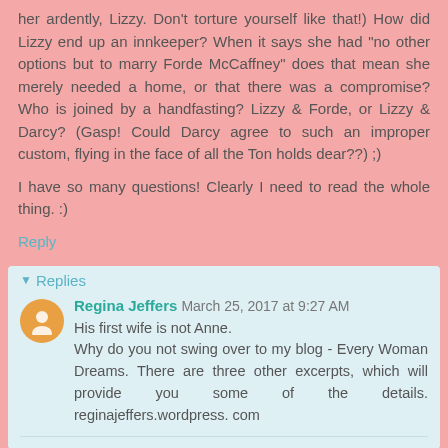her ardently, Lizzy. Don't torture yourself like that!) How did Lizzy end up an innkeeper? When it says she had "no other options but to marry Forde McCaffney" does that mean she merely needed a home, or that there was a compromise? Who is joined by a handfasting? Lizzy & Forde, or Lizzy & Darcy? (Gasp! Could Darcy agree to such an improper custom, flying in the face of all the Ton holds dear??) ;)
I have so many questions! Clearly I need to read the whole thing. :)
Reply
Replies
Regina Jeffers March 25, 2017 at 9:27 AM
His first wife is not Anne. Why do you not swing over to my blog - Every Woman Dreams. There are three other excerpts, which will provide you some of the details. reginajeffers.wordpress. com